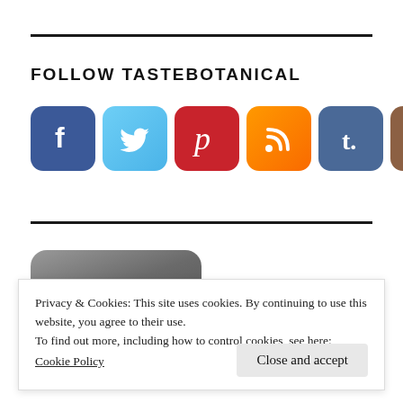FOLLOW TASTEBOTANICAL
[Figure (illustration): Six social media icon buttons in rounded square style: Facebook (blue), Twitter (light blue), Pinterest (red), RSS (orange gradient), Tumblr (steel blue), Instagram (brown)]
[Figure (photo): Partial view of a dark rounded banner/image at the bottom of the page, cut off by cookie consent overlay]
Privacy & Cookies: This site uses cookies. By continuing to use this website, you agree to their use.
To find out more, including how to control cookies, see here:
Cookie Policy
Close and accept